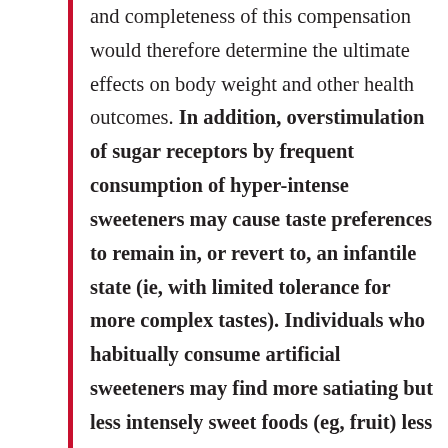and completeness of this compensation would therefore determine the ultimate effects on body weight and other health outcomes. In addition, overstimulation of sugar receptors by frequent consumption of hyper-intense sweeteners may cause taste preferences to remain in, or revert to, an infantile state (ie, with limited tolerance for more complex tastes). Individuals who habitually consume artificial sweeteners may find more satiating but less intensely sweet foods (eg, fruit) less appealing and unsweet